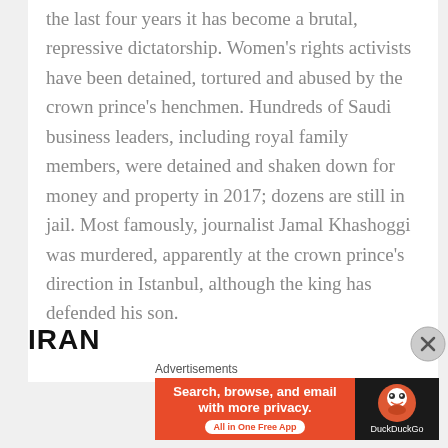the last four years it has become a brutal, repressive dictatorship. Women's rights activists have been detained, tortured and abused by the crown prince's henchmen. Hundreds of Saudi business leaders, including royal family members, were detained and shaken down for money and property in 2017; dozens are still in jail. Most famously, journalist Jamal Khashoggi was murdered, apparently at the crown prince's direction in Istanbul, although the king has defended his son.
IRAN
Advertisements
[Figure (other): DuckDuckGo advertisement banner: orange left panel with text 'Search, browse, and email with more privacy. All in One Free App' and dark right panel with DuckDuckGo logo and brand name.]